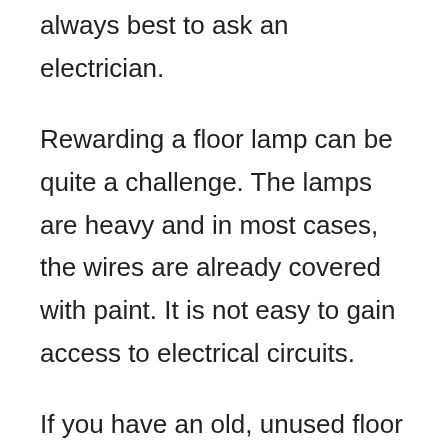always best to ask an electrician.
Rewarding a floor lamp can be quite a challenge. The lamps are heavy and in most cases, the wires are already covered with paint. It is not easy to gain access to electrical circuits.
If you have an old, unused floor lamp, your best bet is to replace the wires. However, if